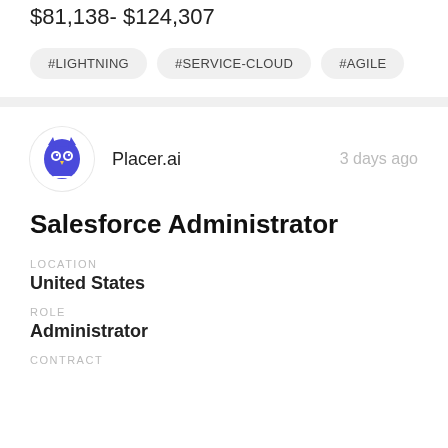$81,138 - $124,307
#LIGHTNING
#SERVICE-CLOUD
#AGILE
Placer.ai  3 days ago
Salesforce Administrator
LOCATION
United States
ROLE
Administrator
CONTRACT